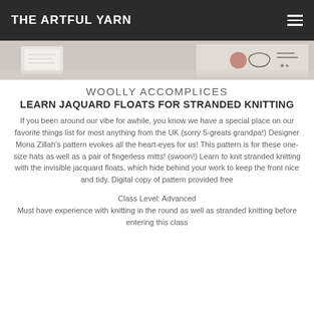THE ARTFUL YARN
[Figure (photo): Partial photo strip showing a desk scene with paper and decorative items]
WOOLLY ACCOMPLICES
LEARN JAQUARD FLOATS FOR STRANDED KNITTING
If you been around our vibe for awhile, you know we have a special place on our favorite things list for most anything from the UK (sorry 5-greats grandpa!) Designer Mona Zillah's pattern evokes all the heart-eyes for us! This pattern is for these one-size hats as well as a pair of fingerless mitts! (swoon!) Learn to knit stranded knitting with the invisible jacquard floats, which hide behind your work to keep the front nice and tidy. Digital copy of pattern provided free
Class Level: Advanced
Must have experience with knitting in the round as well as stranded knitting before entering this class